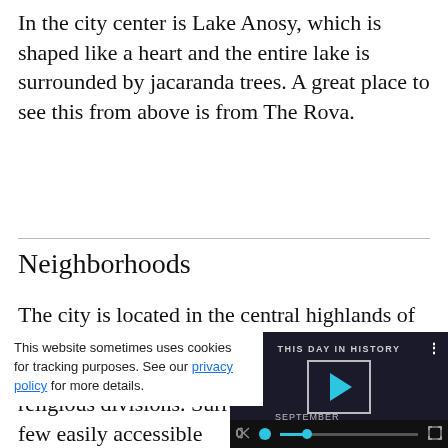In the city center is Lake Anosy, which is shaped like a heart and the entire lake is surrounded by jacaranda trees. A great place to see this from above is from The Rova.
Neighborhoods
The city is located in the central highlands of the island of Madagascar. The neighborhoods of the city are reflective of historically religious divisions. Surrounding the city are a few easily accessible
This website sometimes uses cookies for tracking purposes. See our privacy policy for more details.
[Figure (screenshot): Embedded video overlay showing 'THIS DAY IN HISTORY' with a play button, progress bar, and September label on a dark background with faces.]